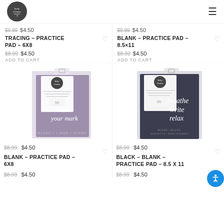Kelly Creates logo | hamburger menu
$8.99  $4.50 (truncated, top left)
$8.99  $4.50 (truncated, top right)
TRACING – PRACTICE PAD – 6X8
$8.99  $4.50
ADD TO CART
BLANK – PRACTICE PAD – 8.5×11
$8.99  $4.50
ADD TO CART
[Figure (photo): Product photo: practice pad with 'make your mark' script lettering on purple cover, in clear packaging with Kelly Creates logo label]
$8.99  $4.50
BLANK – PRACTICE PAD – 6X8
$8.99  $4.50
[Figure (photo): Product photo: practice pad with 'breathe write relax' script lettering on dark navy cover, in clear packaging with Kelly Creates logo label]
$8.99  $4.50
BLACK – BLANK – PRACTICE PAD – 8.5 X 11
$8.99  $4.50